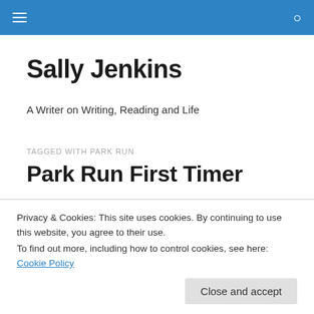Sally Jenkins — navigation bar with menu and search icons
Sally Jenkins
A Writer on Writing, Reading and Life
TAGGED WITH PARK RUN
Park Run First Timer
I took part in my first Park Run this morning — 5 km (2…
Privacy & Cookies: This site uses cookies. By continuing to use this website, you agree to their use.
To find out more, including how to control cookies, see here: Cookie Policy
Close and accept